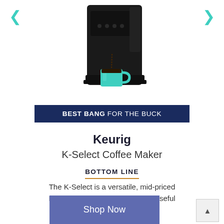[Figure (photo): Black Keurig K-Select coffee maker with a teal mug underneath the dispenser, coffee pouring into mug, photographed from the front against a white background.]
BEST BANG FOR THE BUCK
Keurig
K-Select Coffee Maker
BOTTOM LINE
The K-Select is a versatile, mid-priced Keurig coffee maker with lots of useful features.
Shop Now